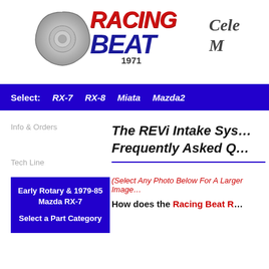[Figure (logo): Racing Beat logo with rotary engine rotor image, red RACING text and blue BEAT text, year 1971, and partial 'Cele... M...' text to the right]
Select: RX-7  RX-8  Miata  Mazda2
Info & Orders
Tech Line
Early Rotary & 1979-85 Mazda RX-7
Select a Part Category
The REVi Intake Sys... Frequently Asked Q...
(Select Any Photo Below For A Larger Image...
How does the Racing Beat R...